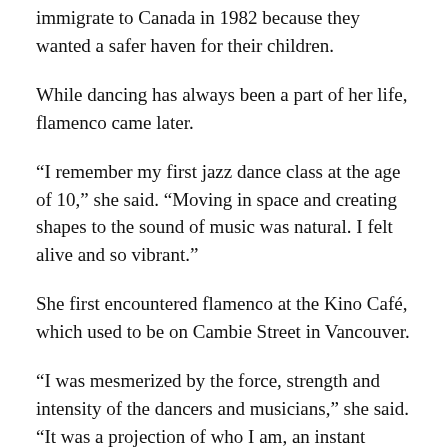immigrate to Canada in 1982 because they wanted a safer haven for their children.
While dancing has always been a part of her life, flamenco came later.
“I remember my first jazz dance class at the age of 10,” she said. “Moving in space and creating shapes to the sound of music was natural. I felt alive and so vibrant.”
She first encountered flamenco at the Kino Café, which used to be on Cambie Street in Vancouver.
“I was mesmerized by the force, strength and intensity of the dancers and musicians,” she said. “It was a projection of who I am, an instant connection. Flamenco is a challenging art form in terms of rhythm, physicality and expression. I never stop